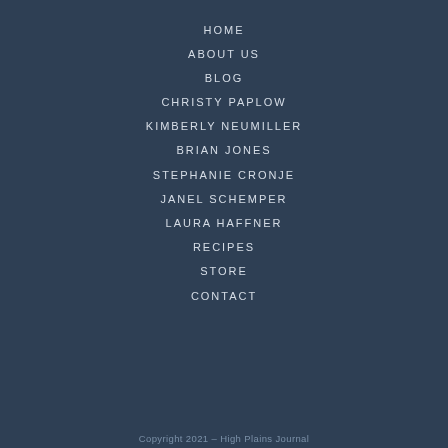HOME
ABOUT US
BLOG
CHRISTY PAPLOW
KIMBERLY NEUMILLER
BRIAN JONES
STEPHANIE CRONJE
JANEL SCHEMPER
LAURA HAFFNER
RECIPES
STORE
CONTACT
Copyright 2021 – High Plains Journal